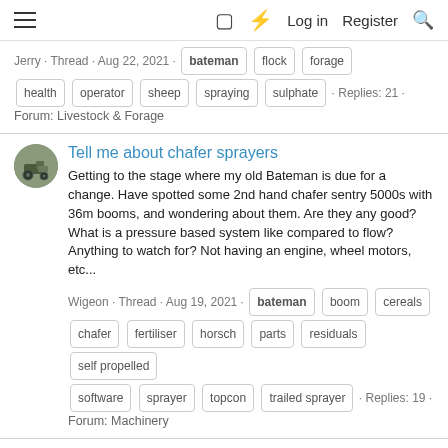Log in  Register
Jerry · Thread · Aug 22, 2021 · bateman  flock  forage  health  operator  sheep  spraying  sulphate · Replies: 21 · Forum: Livestock & Forage
Tell me about chafer sprayers
Getting to the stage where my old Bateman is due for a change. Have spotted some 2nd hand chafer sentry 5000s with 36m booms, and wondering about them. Are they any good? What is a pressure based system like compared to flow? Anything to watch for? Not having an engine, wheel motors, etc...
Wigeon · Thread · Aug 19, 2021 · bateman  boom  cereals  chafer  fertiliser  horsch  parts  residuals  self propelled  software  sprayer  topcon  trailed sprayer · Replies: 19 · Forum: Machinery
Galvanised gate posts
Hello, does any body have any experience with galvanised gate posts , ( round ) want to buy some ready made ones , don't want to make our own , every where seems to stock lae , just wondered if the ound then we would it be if the in the...